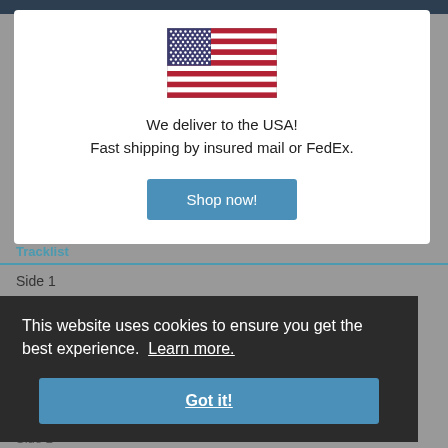[Figure (screenshot): US flag SVG illustration]
We deliver to the USA!
Fast shipping by insured mail or FedEx.
Shop now!
Tracklist
Side 1
This website uses cookies to ensure you get the best experience. Learn more.
Got it!
Side 2